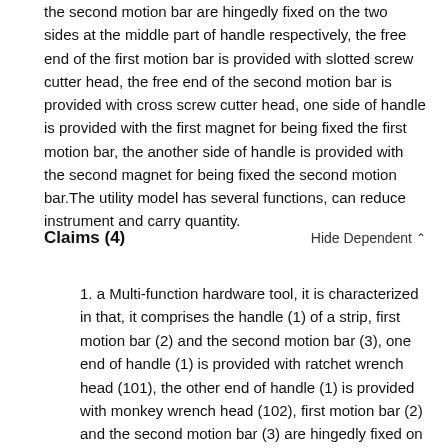the second motion bar are hingedly fixed on the two sides at the middle part of handle respectively, the free end of the first motion bar is provided with slotted screw cutter head, the free end of the second motion bar is provided with cross screw cutter head, one side of handle is provided with the first magnet for being fixed the first motion bar, the another side of handle is provided with the second magnet for being fixed the second motion bar.The utility model has several functions, can reduce instrument and carry quantity.
Claims (4)
1. a Multi-function hardware tool, it is characterized in that, it comprises the handle (1) of a strip, first motion bar (2) and the second motion bar (3), one end of handle (1) is provided with ratchet wrench head (101), the other end of handle (1) is provided with monkey wrench head (102), first motion bar (2) and the second motion bar (3) are hingedly fixed on the two sides at the middle part of handle (1) respectively, the free end of the first motion bar (2) is provided with slotted screw cutter head (201), the free end of the second motion bar (3) is provided with